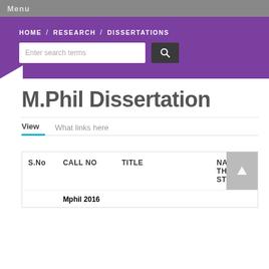Menu
HOME / RESEARCH / DISSERTATIONS
M.Phil Dissertation
View   What links here
| S.No | CALL NO | TITLE | NAME OF THE STUDENT |
| --- | --- | --- | --- |
|  | Mphil 2016 |  |  |